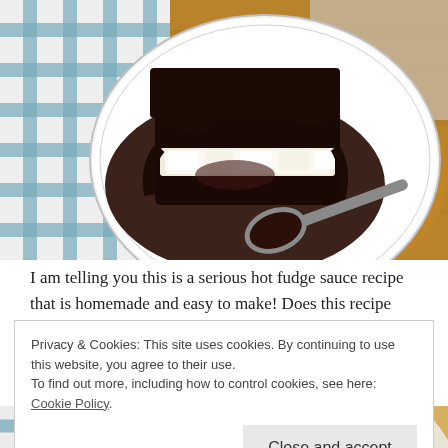[Figure (photo): A white plate with a piece of chocolate cake or brownie dessert topped with rich dark hot fudge sauce and a white cream layer, with a spoon resting on the plate. The plate sits on a wooden surface with a blue and white checkered cloth napkin on the left.]
I am telling you this is a serious hot fudge sauce recipe that is homemade and easy to make! Does this recipe remind you of the
Privacy & Cookies: This site uses cookies. By continuing to use this website, you agree to their use.
To find out more, including how to control cookies, see here: Cookie Policy
Close and accept
[Figure (photo): Bottom portion of another food photo showing a blue and white checkered cloth and a partial view of a similar dessert plate.]